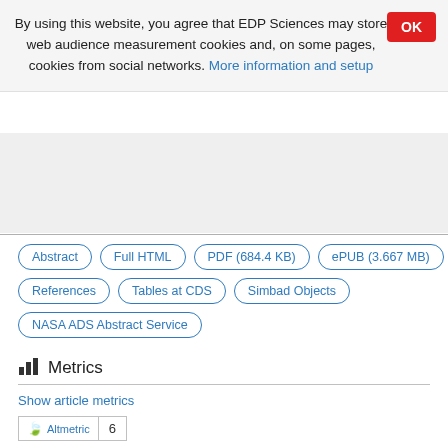By using this website, you agree that EDP Sciences may store web audience measurement cookies and, on some pages, cookies from social networks. More information and setup
OK
Abstract
Full HTML
PDF (684.4 KB)
ePUB (3.667 MB)
References
Tables at CDS
Simbad Objects
NASA ADS Abstract Service
Metrics
Show article metrics
Altmetric  6